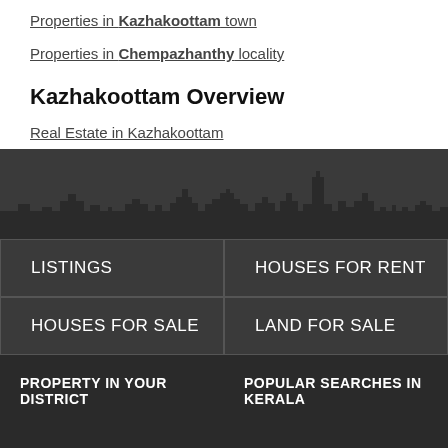Properties in Kazhakoottam town
Properties in Chempazhanthy locality
Kazhakoottam Overview
Real Estate in Kazhakoottam
[Figure (illustration): City skyline silhouette in dark gray]
LISTINGS
HOUSES FOR RENT
HOUSES FOR SALE
LAND FOR SALE
PROPERTY IN YOUR DISTRICT
POPULAR SEARCHES IN KERALA